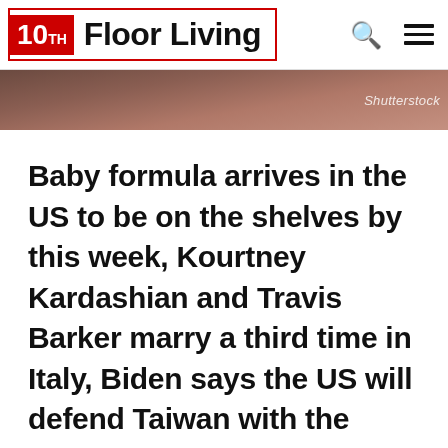10TH Floor Living
[Figure (photo): Blurred close-up background image with Shutterstock watermark]
Baby formula arrives in the US to be on the shelves by this week, Kourtney Kardashian and Travis Barker marry a third time in Italy, Biden says the US will defend Taiwan with the military if